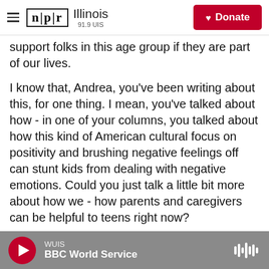NPR Illinois 91.9 UIS | Donate
support folks in this age group if they are part of our lives.
I know that, Andrea, you've been writing about this, for one thing. I mean, you've talked about how - in one of your columns, you talked about how this kind of American cultural focus on positivity and brushing negative feelings off can stunt kids from dealing with negative emotions. Could you just talk a little bit more about how we - how parents and caregivers can be helpful to teens right now?
BONIOR: Sure. Sure. You know, I think we tend to start pretty young with our kids in terms of telling
WUIS | BBC World Service